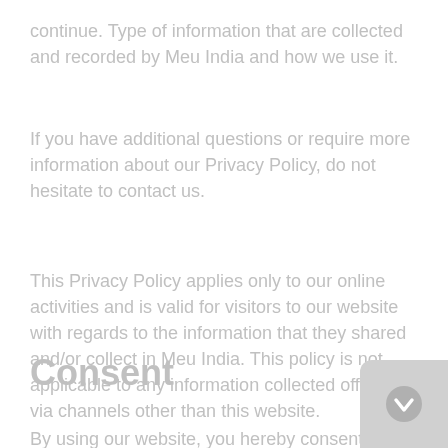continue. Type of information that are collected and recorded by Meu India and how we use it.
If you have additional questions or require more information about our Privacy Policy, do not hesitate to contact us.
This Privacy Policy applies only to our online activities and is valid for visitors to our website with regards to the information that they shared and/or collect in Meu India. This policy is not applicable to any information collected offline or via channels other than this website.
Consent
By using our website, you hereby consent to our Privacy...